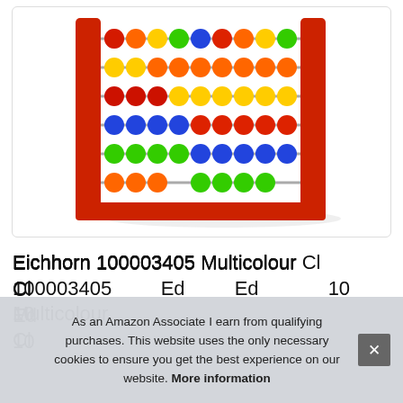[Figure (photo): Colorful wooden abacus with red frame and multicolored beads in rows (blue, green, orange, red, yellow) on metal rods, photographed against a white background.]
Eichhorn 100003405 Multicolour Classic Wooden Abacus for Kids Education 100...
As an Amazon Associate I earn from qualifying purchases. This website uses the only necessary cookies to ensure you get the best experience on our website. More information